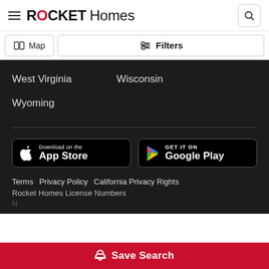ROCKET Homes
Map   Filters
West Virginia
Wisconsin
Wyoming
[Figure (logo): Download on the App Store button]
[Figure (logo): GET IT ON Google Play button]
Terms   Privacy Policy   California Privacy Rights
Rocket Homes License Numbers
NY
Save Search